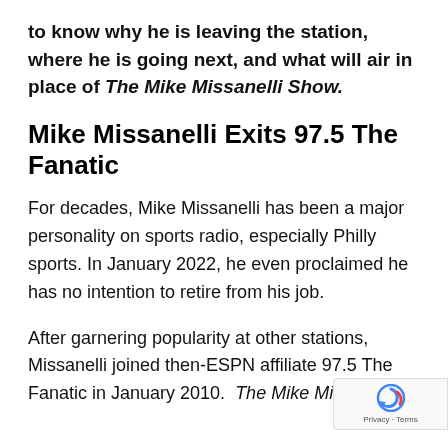to know why he is leaving the station, where he is going next, and what will air in place of The Mike Missanelli Show.
Mike Missanelli Exits 97.5 The Fanatic
For decades, Mike Missanelli has been a major personality on sports radio, especially Philly sports. In January 2022, he even proclaimed he has no intention to retire from his job.
After garnering popularity at other stations, Missanelli joined then-ESPN affiliate 97.5 The Fanatic in January 2010. The Mike Missanelli Show.